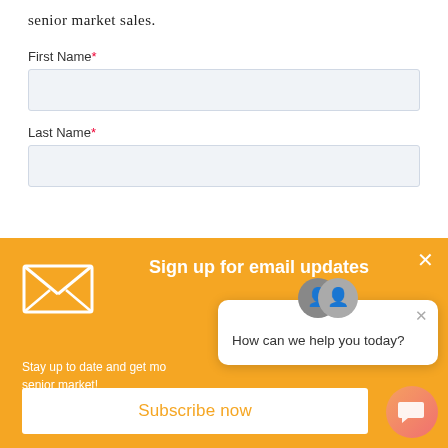senior market sales.
First Name*
Last Name*
Sign up for email updates
Stay up to date and get mo... senior market!
How can we help you today?
Subscribe now